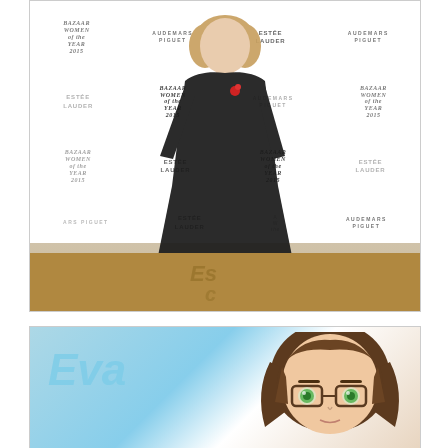[Figure (photo): Woman wearing a black long-sleeve mini dress standing on a red carpet in front of a step-and-repeat banner featuring Bazaar Women of the Year 2015, Audemars Piguet, and Estee Lauder logos. She is wearing black heels and has a red flower pin on her dress.]
[Figure (illustration): Anime-style illustration showing the word 'Eva' in light blue italic text on the left side, and a partial anime character face on the right with brown hair, glasses, and green eyes.]